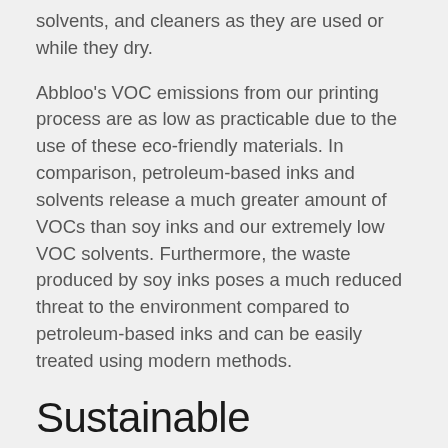solvents, and cleaners as they are used or while they dry.
Abbloo's VOC emissions from our printing process are as low as practicable due to the use of these eco-friendly materials. In comparison, petroleum-based inks and solvents release a much greater amount of VOCs than soy inks and our extremely low VOC solvents. Furthermore, the waste produced by soy inks poses a much reduced threat to the environment compared to petroleum-based inks and can be easily treated using modern methods.
Sustainable Packaging
In our packaging, we have the aim to do this in the most sustainable way. This means that for our branded packages, we thrive to have 100% recyclable materials and that we don't use over